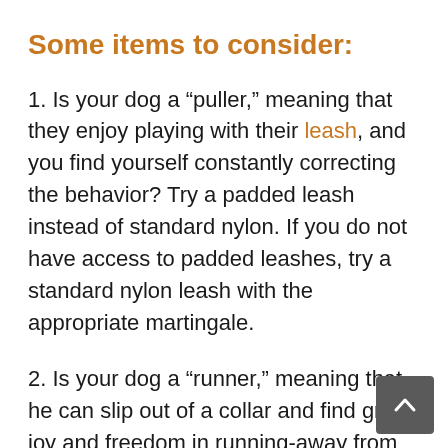Some items to consider:
1. Is your dog a “puller,” meaning that they enjoy playing with their leash, and you find yourself constantly correcting the behavior? Try a padded leash instead of standard nylon. If you do not have access to padded leashes, try a standard nylon leash with the appropriate martingale.
2. Is your dog a “runner,” meaning that he can slip out of a collar and find great joy and freedom in running-away from you? Look into harnesses.